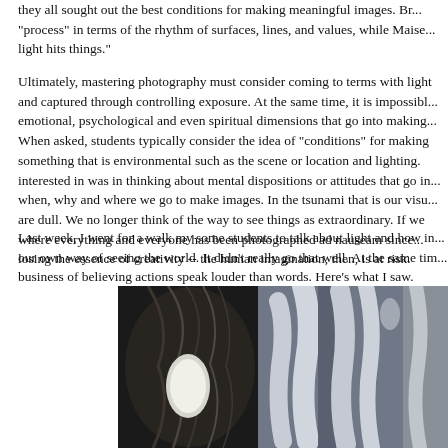they all sought out the best conditions for making meaningful images. Br... "process" in terms of the rhythm of surfaces, lines, and values, while Maise... light hits things."
Ultimately, mastering photography must consider coming to terms with light and captured through controlling exposure. At the same time, it is impossible emotional, psychological and even spiritual dimensions that go into making... When asked, students typically consider the idea of "conditions" for making something that is environmental such as the scene or location and lighting. interested in was in thinking about mental dispositions or attitudes that go in... when, why and where we go to make images. In the tsunami that is our visu... are dull. We no longer think of the way to see things as extraordinary. If we where everything and everyone has been photographed ad nauseam since losing the essence of creativity -- the human imagination, then, is at risk.
Last week, I went for a walk my some students to talk about light and how in... our own way of seeing the world. It didn't really go that well. At the same tim... business of believing actions speak louder than words. Here's what I saw.
[Figure (photo): Black and white photograph showing what appears to be tree bark texture on the left and abstract light and shadow shapes (possibly hands or fabric) on the right side.]